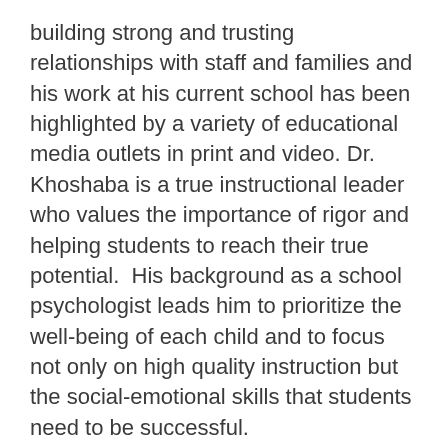building strong and trusting relationships with staff and families and his work at his current school has been highlighted by a variety of educational media outlets in print and video. Dr. Khoshaba is a true instructional leader who values the importance of rigor and helping students to reach their true potential.  His background as a school psychologist leads him to prioritize the well-being of each child and to focus not only on high quality instruction but the social-emotional skills that students need to be successful.
Dr. Khoshaba is honored to serve as the principal of South County High School. He looks forward to meeting and working with the